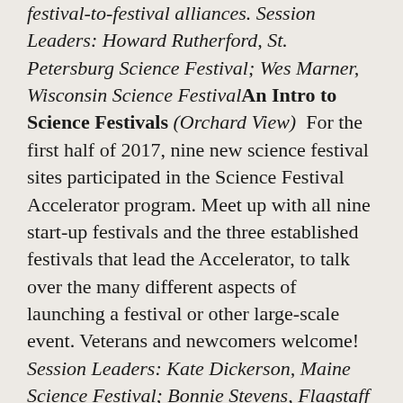festival-to-festival alliances. Session Leaders: Howard Rutherford, St. Petersburg Science Festival; Wes Marner, Wisconsin Science FestivalAn Intro to Science Festivals (Orchard View)  For the first half of 2017, nine new science festival sites participated in the Science Festival Accelerator program. Meet up with all nine start-up festivals and the three established festivals that lead the Accelerator, to talk over the many different aspects of launching a festival or other large-scale event. Veterans and newcomers welcome!  Session Leaders: Kate Dickerson, Maine Science Festival; Bonnie Stevens, Flagstaff Festival of Science; Dave Wood, Indian River Lagoon Science Festival    2:15 – 3:15  Event Critique: Gastropod Live! (Forum)  Not only was Gastropod Live! gracious enough